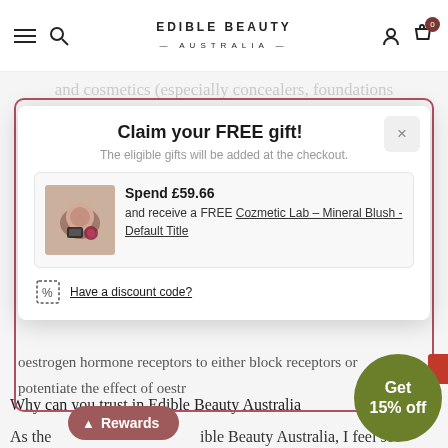EDIBLE BEAUTY AUSTRALIA
and cosmetics (especially concealers, foundations
Claim your FREE gift!
The eligible gifts will be added at the checkout.
Spend £59.66 and receive a FREE Cozmetic Lab – Mineral Blush - Default Title
Have a discount code?
oestrogen hormone receptors to either block receptors or potentiate the effect of oestr
Why can you trust in Edible Beauty Australia
As the ible Beauty Australia, I feel so
Get 15% off
Rewards